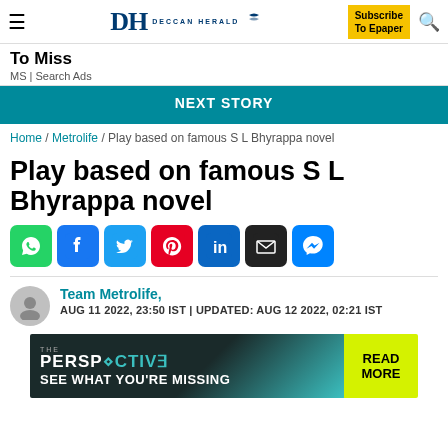Deccan Herald
To Miss
MS | Search Ads
NEXT STORY
Home / Metrolife / Play based on famous S L Bhyrappa novel
Play based on famous S L Bhyrappa novel
[Figure (other): Social media share icons: WhatsApp, Facebook, Twitter, Pinterest, LinkedIn, Email, Messenger]
Team Metrolife,
AUG 11 2022, 23:50 IST | UPDATED: AUG 12 2022, 02:21 IST
[Figure (other): The Perspective advertisement banner: SEE WHAT YOU'RE MISSING - READ MORE]